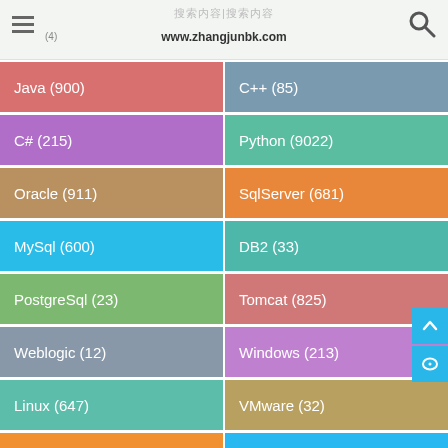www.zhangjunbk.com
Java (900)
C++ (85)
C# (215)
Python (9022)
Oracle (911)
SqlServer (681)
MySql (600)
DB2 (33)
PostgreSql (23)
Tomcat (825)
Weblogic (12)
Windows (213)
Linux (647)
VMware (32)
Ubuntu (194)
ASP.NET (198)
Android (681)
IOS (75)
Hive (45)
Hadoop (50)